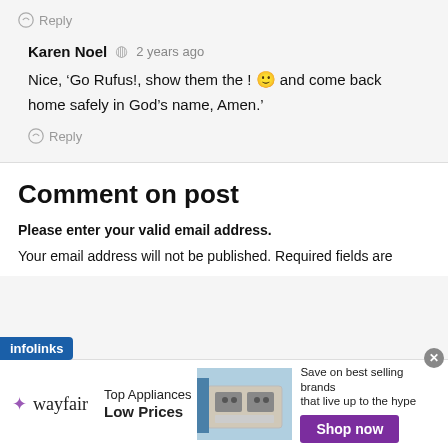Reply
Karen Noel   2 years ago
Nice, ‘Go Rufus!, show them the ! 🙂 and come back home safely in God’s name, Amen.’
Reply
Comment on post
Please enter your valid email address.
Your email address will not be published. Required fields are